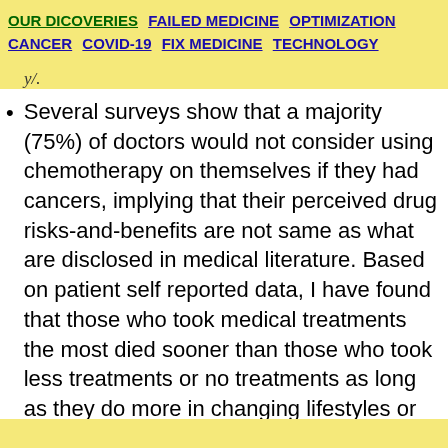OUR DICOVERIES   FAILED MEDICINE   OPTIMIZATION   CANCER   COVID-19   FIX MEDICINE   TECHNOLOGY
y/.
Several surveys show that a majority (75%) of doctors would not consider using chemotherapy on themselves if they had cancers, implying that their perceived drug risks-and-benefits are not same as what are disclosed in medical literature. Based on patient self reported data, I have found that those who took medical treatments the most died sooner than those who took less treatments or no treatments as long as they do more in changing lifestyles or fighting cancer. This riddle is finally solved in the